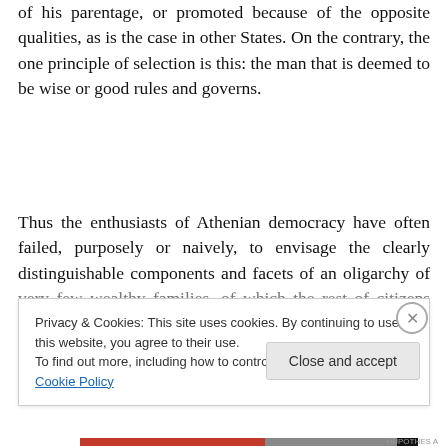of his parentage, or promoted because of the opposite qualities, as is the case in other States. On the contrary, the one principle of selection is this: the man that is deemed to be wise or good rules and governs.
Thus the enthusiasts of Athenian democracy have often failed, purposely or naively, to envisage the clearly distinguishable components and facets of an oligarchy of very few wealthy families, of which the rest of citizens (the
Privacy & Cookies: This site uses cookies. By continuing to use this website, you agree to their use.
To find out more, including how to control cookies, see here: Cookie Policy